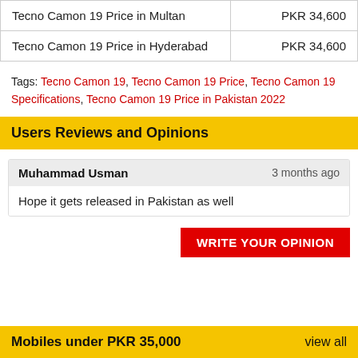|  |  |
| --- | --- |
| Tecno Camon 19 Price in Multan | PKR 34,600 |
| Tecno Camon 19 Price in Hyderabad | PKR 34,600 |
Tags: Tecno Camon 19, Tecno Camon 19 Price, Tecno Camon 19 Specifications, Tecno Camon 19 Price in Pakistan 2022
Users Reviews and Opinions
Muhammad Usman  3 months ago
Hope it gets released in Pakistan as well
WRITE YOUR OPINION
Mobiles under PKR 35,000   view all